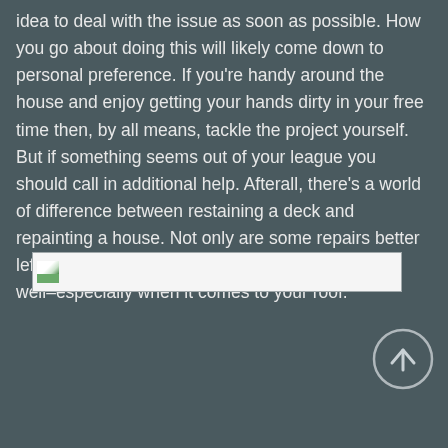idea to deal with the issue as soon as possible. How you go about doing this will likely come down to personal preference. If you're handy around the house and enjoy getting your hands dirty in your free time then, by all means, tackle the project yourself. But if something seems out of your league you should call in additional help. Afterall, there's a world of difference between restaining a deck and repainting a house. Not only are some repairs better left for professionals but some inspections are as well–especially when it comes to your roof.
[Figure (photo): A small image thumbnail with a green landscape photo, displayed in a horizontal bar with border at the bottom of the text area.]